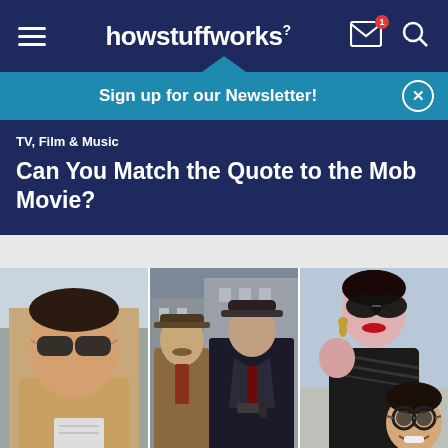howstuffworks
Sign up for our Newsletter!
TV, Film & Music
Can You Match the Quote to the Mob Movie?
[Figure (photo): Collage of three mob movie scenes: left panel shows a man in sunglasses and light shirt in a sunny outdoor setting; center panel shows two men in 1920s-style hats and suits, one holding a gun; right panel shows a glamorous woman in a black feathered dress with sunglasses, and below her a smiling man in sunglasses.]